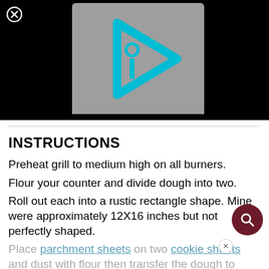[Figure (screenshot): Black video player area with a gray thumbnail showing a cyan/teal play button icon with an 'i' letter inside it. A white circle X close button is in the top left.]
INSTRUCTIONS
Preheat grill to medium high on all burners.
Flour your counter and divide dough into two.
Roll out each into a rustic rectangle shape. Mine were approximately 12X16 inches but not perfectly shaped.
Place parchment sheets on two cookie sheets and dust with flour then transfer the dough to